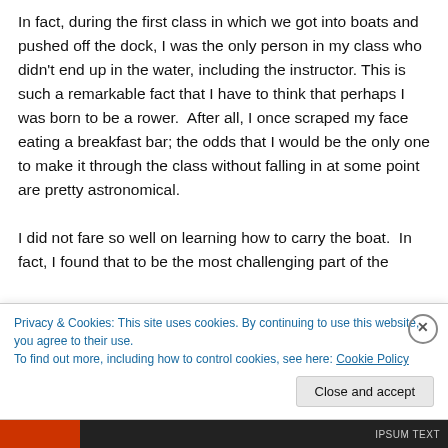In fact, during the first class in which we got into boats and pushed off the dock, I was the only person in my class who didn't end up in the water, including the instructor. This is such a remarkable fact that I have to think that perhaps I was born to be a rower.  After all, I once scraped my face eating a breakfast bar; the odds that I would be the only one to make it through the class without falling in at some point are pretty astronomical.

I did not fare so well on learning how to carry the boat.  In fact, I found that to be the most challenging part of the
Privacy & Cookies: This site uses cookies. By continuing to use this website, you agree to their use.
To find out more, including how to control cookies, see here: Cookie Policy
Close and accept